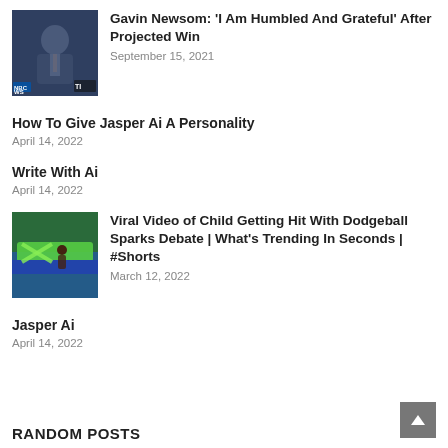[Figure (photo): Photo of Gavin Newsom smiling, news broadcast background with NBC logo]
Gavin Newsom: 'I Am Humbled And Grateful' After Projected Win
September 15, 2021
How To Give Jasper Ai A Personality
April 14, 2022
Write With Ai
April 14, 2022
[Figure (photo): Photo of child playing dodgeball in gym with green and blue mats]
Viral Video of Child Getting Hit With Dodgeball Sparks Debate | What's Trending In Seconds | #Shorts
March 12, 2022
Jasper Ai
April 14, 2022
RANDOM POSTS